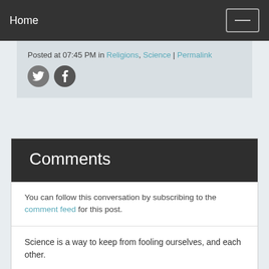Home
Posted at 07:45 PM in Religions, Science | Permalink
[Figure (illustration): Twitter and Facebook social sharing icons]
Comments
You can follow this conversation by subscribing to the comment feed for this post.
Science is a way to keep from fooling ourselves, and each other.

Religion is the way we keep fooling ourselves, and each